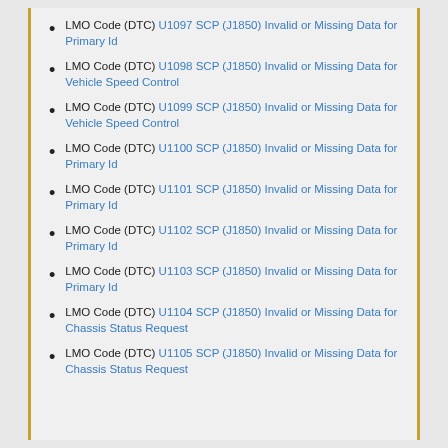LMO Code (DTC) U1097 SCP (J1850) Invalid or Missing Data for Primary Id
LMO Code (DTC) U1098 SCP (J1850) Invalid or Missing Data for Vehicle Speed Control
LMO Code (DTC) U1099 SCP (J1850) Invalid or Missing Data for Vehicle Speed Control
LMO Code (DTC) U1100 SCP (J1850) Invalid or Missing Data for Primary Id
LMO Code (DTC) U1101 SCP (J1850) Invalid or Missing Data for Primary Id
LMO Code (DTC) U1102 SCP (J1850) Invalid or Missing Data for Primary Id
LMO Code (DTC) U1103 SCP (J1850) Invalid or Missing Data for Primary Id
LMO Code (DTC) U1104 SCP (J1850) Invalid or Missing Data for Chassis Status Request
LMO Code (DTC) U1105 SCP (J1850) Invalid or Missing Data for Chassis Status Request